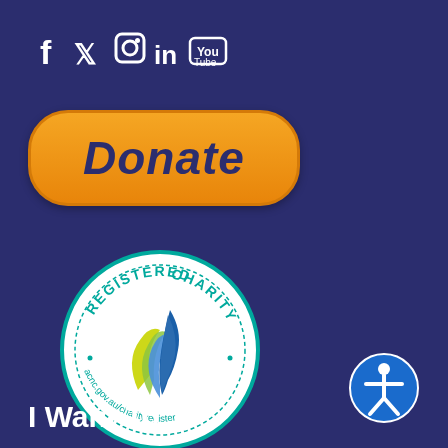[Figure (logo): Social media icons: Facebook (f), Twitter (bird), Instagram (camera), LinkedIn (in), YouTube (play button)]
[Figure (other): Orange rounded rectangle Donate button with italic teal text 'Donate']
[Figure (logo): ACNC Registered Charity circular badge with teal text 'REGISTERED CHARITY' and 'acnc.gov.au/charityregister', featuring a flame/ribbon logo in blue, green, and yellow]
I Want To
[Figure (other): Accessibility icon: white human figure with arms outstretched inside a blue circle]